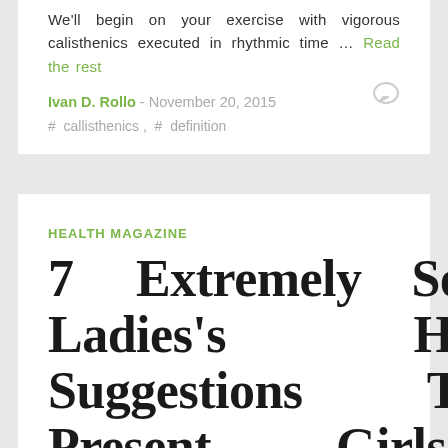We'll begin on your exercise with vigorous calisthenics executed in rhythmic time … Read the rest
Ivan D. Rollo - November 20, 2015
# callisthenics , # definition
HEALTH MAGAZINE
7 Extremely Sexist Ladies's Health Suggestions That Present Girls's Magazines Have A